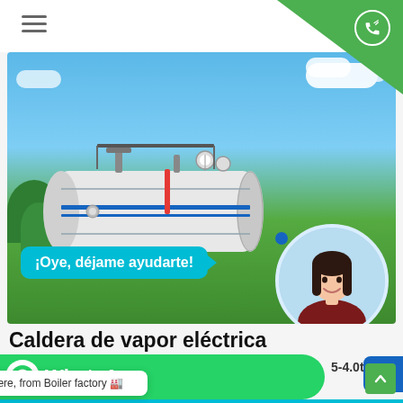Navigation header with hamburger menu and phone icon
[Figure (photo): Industrial electric steam boiler (white cylindrical horizontal boiler on black frame with gauges and pipes) displayed outdoors on green field with blue sky background. A cyan chat bubble reads '¡Oye, déjame ayudarte!' with a female customer service avatar.]
Caldera de vapor eléctrica
WhatsApp
0.5-4.0t/h
Eficiencia térmic...
Hello, Helen here, from Boiler factory 🏭